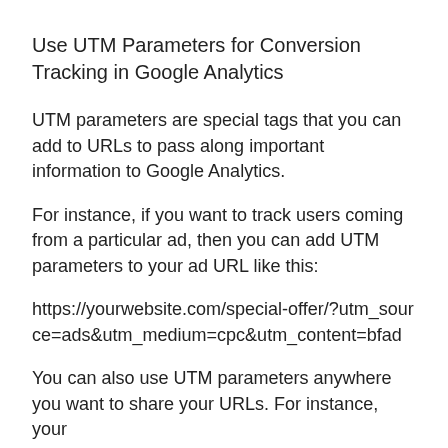Use UTM Parameters for Conversion Tracking in Google Analytics
UTM parameters are special tags that you can add to URLs to pass along important information to Google Analytics.
For instance, if you want to track users coming from a particular ad, then you can add UTM parameters to your ad URL like this:
https://yourwebsite.com/special-offer/?utm_source=ads&utm_medium=cpc&utm_content=bfad
You can also use UTM parameters anywhere you want to share your URLs. For instance, your